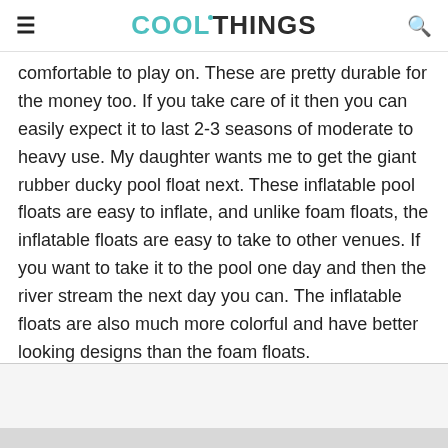COOLTHINGS
comfortable to play on. These are pretty durable for the money too. If you take care of it then you can easily expect it to last 2-3 seasons of moderate to heavy use. My daughter wants me to get the giant rubber ducky pool float next. These inflatable pool floats are easy to inflate, and unlike foam floats, the inflatable floats are easy to take to other venues. If you want to take it to the pool one day and then the river stream the next day you can. The inflatable floats are also much more colorful and have better looking designs than the foam floats.